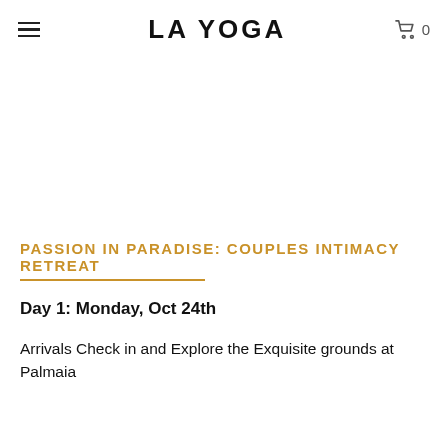LA YOGA
PASSION IN PARADISE: COUPLES INTIMACY RETREAT
Day 1: Monday, Oct 24th
Arrivals Check in and Explore the Exquisite grounds at Palmaia